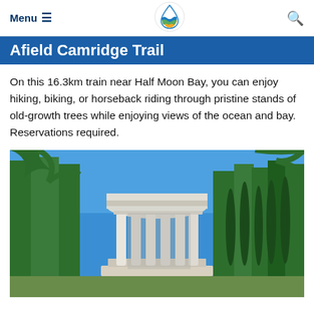Menu ≡ [logo] [search]
Afield Camridge Trail
On this 16.3km train near Half Moon Bay, you can enjoy hiking, biking, or horseback riding through pristine stands of old-growth trees while enjoying views of the ocean and bay. Reservations required.
[Figure (photo): Photo of a classical circular stone monument with columns, surrounded by tall trees under a bright blue sky]